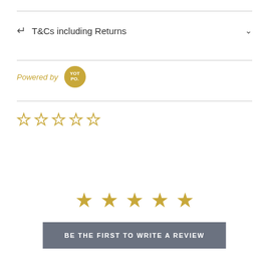T&Cs including Returns
Powered by YOTPO
[Figure (other): Five empty star rating icons in gold/yellow outline]
[Figure (other): Five filled gold star icons representing 5-star rating]
BE THE FIRST TO WRITE A REVIEW